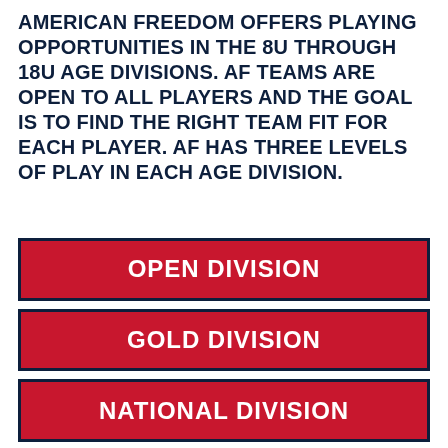AMERICAN FREEDOM OFFERS PLAYING OPPORTUNITIES IN THE 8U THROUGH 18U AGE DIVISIONS. AF TEAMS ARE OPEN TO ALL PLAYERS AND THE GOAL IS TO FIND THE RIGHT TEAM FIT FOR EACH PLAYER. AF HAS THREE LEVELS OF PLAY IN EACH AGE DIVISION.
OPEN DIVISION
GOLD DIVISION
NATIONAL DIVISION